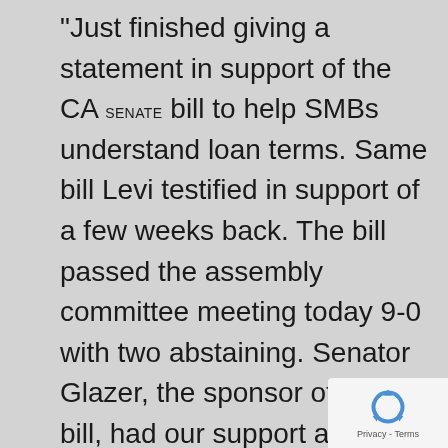“Just finished giving a statement in support of the CA senate bill to help SMBs understand loan terms. Same bill Levi testified in support of a few weeks back. The bill passed the assembly committee meeting today 9-0 with two abstaining. Senator Glazer, the sponsor of the bill, had our support along with a few other SMB supporters. The opposition was well-prepared and argued staunchly against it. Was great to see both CA Democrats and Republicans support the measure. I love what we’re doing to help
[Figure (logo): reCAPTCHA logo with Privacy - Terms text]